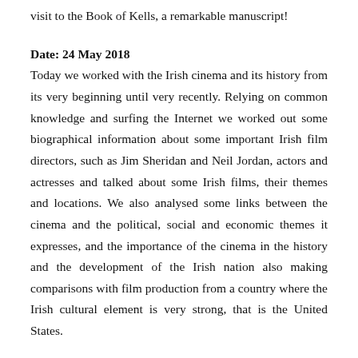visit to the Book of Kells, a remarkable manuscript!
Date: 24 May 2018
Today we worked with the Irish cinema and its history from its very beginning until very recently. Relying on common knowledge and surfing the Internet we worked out some biographical information about some important Irish film directors, such as Jim Sheridan and Neil Jordan, actors and actresses and talked about some Irish films, their themes and locations. We also analysed some links between the cinema and the political, social and economic themes it expresses, and the importance of the cinema in the history and the development of the Irish nation also making comparisons with film production from a country where the Irish cultural element is very strong, that is the United States.